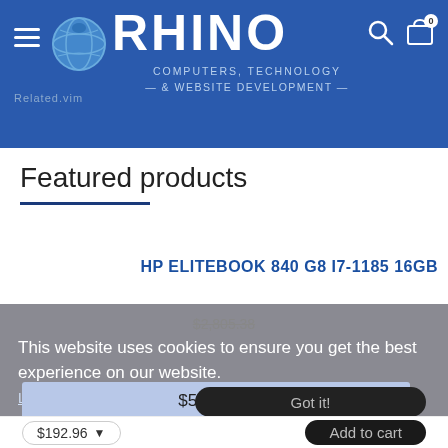RHINO COMPUTERS, TECHNOLOGY & WEBSITE DEVELOPMENT
Featured products
HP ELITEBOOK 840 G8 I7-1185 16GB
$2,805.38
This website uses cookies to ensure you get the best experience on our website.
Learn more
HP ZBOOK FURY 15 G8 W-11955M 32GB
$5,805.59
Got it!
$192.96
Add to cart